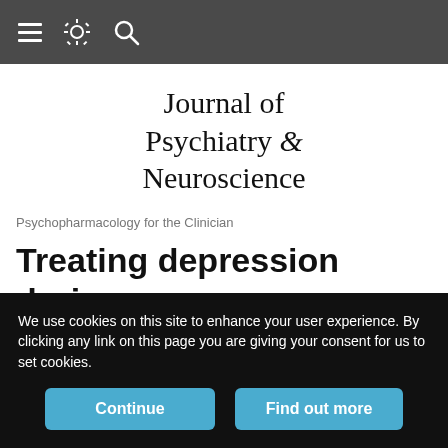Navigation bar with menu, settings, and search icons
[Figure (logo): Journal of Psychiatry & Neuroscience journal logo in serif font]
Psychopharmacology for the Clinician
Treating depression during pregnancy
Meir Steiner
J Psychiatr Neurosci July 01, 2008;33(4):301
We use cookies on this site to enhance your user experience. By clicking any link on this page you are giving your consent for us to set cookies.